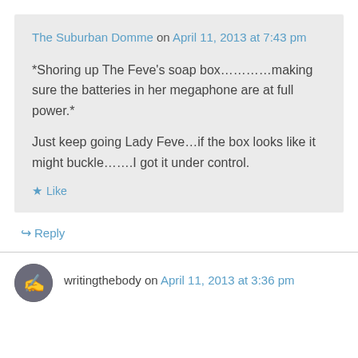The Suburban Domme on April 11, 2013 at 7:43 pm
*Shoring up The Feve’s soap box………….making sure the batteries in her megaphone are at full power.*
Just keep going Lady Feve…if the box looks like it might buckle…….I got it under control.
★ Like
↪ Reply
writingthebody on April 11, 2013 at 3:36 pm